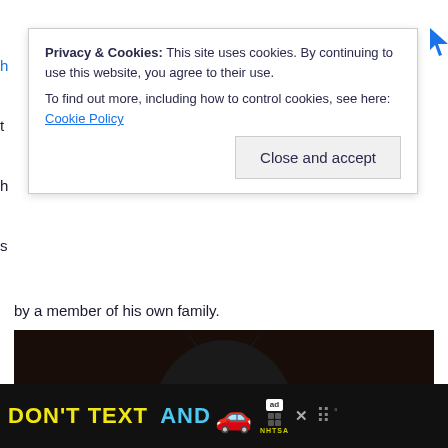by a member of his own family.
[Figure (photo): A person wearing a black Batman-style knit ski mask with pointed ears, looking at the camera against a dark background. Social media save and share buttons visible on right side.]
Privacy & Cookies: This site uses cookies. By continuing to use this website, you agree to their use.
To find out more, including how to control cookies, see here: Cookie Policy
Close and accept
[Figure (screenshot): Advertisement banner at bottom: 'DON'T TEXT AND [car emoji]' with NHTSA logo, ad badge, close X button, and dots/degree symbol.]